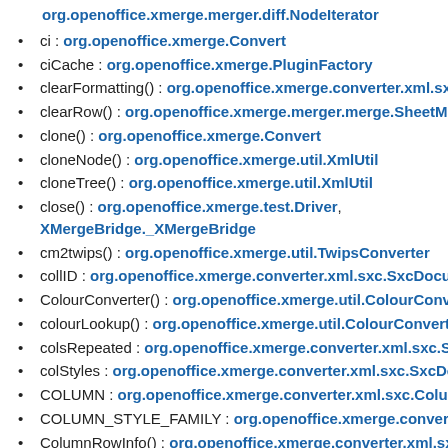org.openoffice.xmerge.merger.diff.NodeIterator
ci : org.openoffice.xmerge.Convert
ciCache : org.openoffice.xmerge.PluginFactory
clearFormatting() : org.openoffice.xmerge.converter.xml.sxc.
clearRow() : org.openoffice.xmerge.merger.merge.SheetMerg
clone() : org.openoffice.xmerge.Convert
cloneNode() : org.openoffice.xmerge.util.XmlUtil
cloneTree() : org.openoffice.xmerge.util.XmlUtil
close() : org.openoffice.xmerge.test.Driver, XMergeBridge._XMergeBridge
cm2twips() : org.openoffice.xmerge.util.TwipsConverter
collID : org.openoffice.xmerge.converter.xml.sxc.SxcDocume
ColourConverter() : org.openoffice.xmerge.util.ColourConver
colourLookup() : org.openoffice.xmerge.util.ColourConverter
colsRepeated : org.openoffice.xmerge.converter.xml.sxc.Sxc
colStyles : org.openoffice.xmerge.converter.xml.sxc.SxcDoc
COLUMN : org.openoffice.xmerge.converter.xml.sxc.Column
COLUMN_STYLE_FAMILY : org.openoffice.xmerge.converter
ColumnRowInfo() : org.openoffice.xmerge.converter.xml.sxc.
ColumnRowList : org.openoffice.xmerge.converter.xml.sxc.S
ColumnStyle() : org.openoffice.xmerge.converter.xml.sxc.